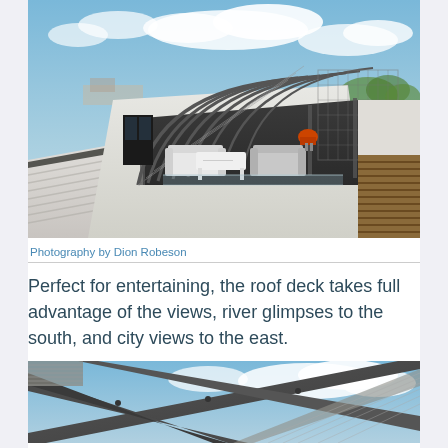[Figure (photo): Aerial view of a modern rooftop deck with a large arched steel and mesh pergola structure, white outdoor furniture including sofas and tables, glass balustrade, and views of suburban landscape and blue sky with clouds.]
Photography by Dion Robeson
Perfect for entertaining, the roof deck takes full advantage of the views, river glimpses to the south, and city views to the east.
[Figure (photo): Close-up detail of the steel frame and corrugated metal roofing structure of the pergola against a blue sky with clouds.]